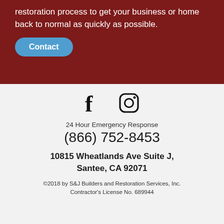restoration process to get your business or home back to normal as quickly as possible.
Contact
[Figure (illustration): Social media icons: Facebook (f) and Instagram (camera icon)]
24 Hour Emergency Response
(866) 752-8453
10815 Wheatlands Ave Suite J, Santee, CA 92071
©2018 by S&J Builders and Restoration Services, Inc. Contractor's License No. 689944